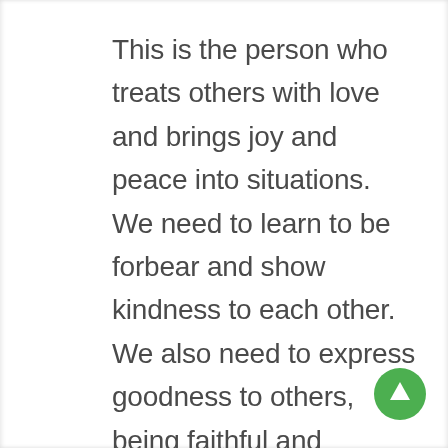This is the person who treats others with love and brings joy and peace into situations. We need to learn to be forbear and show kindness to each other. We also need to express goodness to others, being faithful and trustworthy. To enrich relationships we should demonstrate gentleness and restraint in our actions. These are all qualities that strengthen interpersonal relationships. These are the